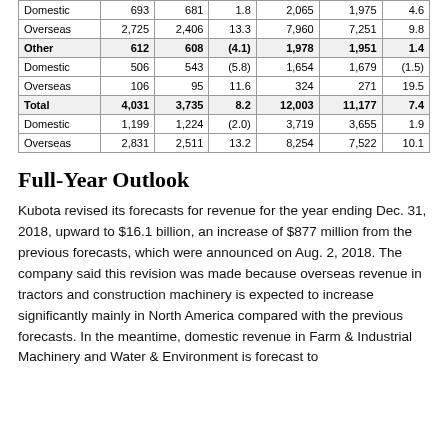| Domestic | 693 | 681 | 1.8 | 2,065 | 1,975 | 4.6 |
| Overseas | 2,725 | 2,406 | 13.3 | 7,960 | 7,251 | 9.8 |
| Other | 612 | 608 | (4.1) | 1,978 | 1,951 | 1.4 |
| Domestic | 506 | 543 | (5.8) | 1,654 | 1,679 | (1.5) |
| Overseas | 106 | 95 | 11.6 | 324 | 271 | 19.5 |
| Total | 4,031 | 3,735 | 8.2 | 12,003 | 11,177 | 7.4 |
| Domestic | 1,199 | 1,224 | (2.0) | 3,719 | 3,655 | 1.9 |
| Overseas | 2,831 | 2,511 | 13.2 | 8,254 | 7,522 | 10.1 |
Full-Year Outlook
Kubota revised its forecasts for revenue for the year ending Dec. 31, 2018, upward to $16.1 billion, an increase of $877 million from the previous forecasts, which were announced on Aug. 2, 2018. The company said this revision was made because overseas revenue in tractors and construction machinery is expected to increase significantly mainly in North America compared with the previous forecasts. In the meantime, domestic revenue in Farm & Industrial Machinery and Water & Environment is forecast to